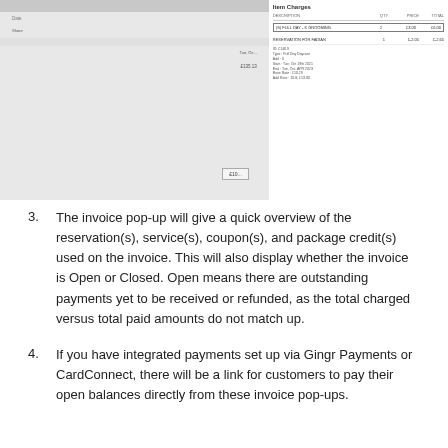[Figure (screenshot): Screenshot of an invoice pop-up interface showing Item Charges with descriptions, quantities, prices, and totals. A row labeled '(S) FULL DAY - K GROOMING' is highlighted with a red border. Below it is a 'RESERVATION FOR FADIAN' entry with sub-details including dates and rates.]
3. The invoice pop-up will give a quick overview of the reservation(s), service(s), coupon(s), and package credit(s) used on the invoice. This will also display whether the invoice is Open or Closed. Open means there are outstanding payments yet to be received or refunded, as the total charged versus total paid amounts do not match up.
4. If you have integrated payments set up via Gingr Payments or CardConnect, there will be a link for customers to pay their open balances directly from these invoice pop-ups.